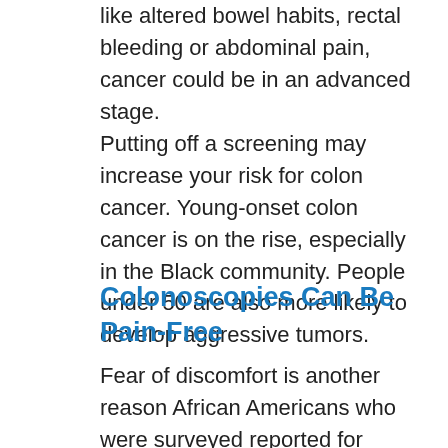like altered bowel habits, rectal bleeding or abdominal pain, cancer could be in an advanced stage.
Putting off a screening may increase your risk for colon cancer. Young-onset colon cancer is on the rise, especially in the Black community. People under 50 are also more likely to develop aggressive tumors.
Colonoscopies Can Be Pain-Free
Fear of discomfort is another reason African Americans who were surveyed reported for avoiding colonoscopy. However, patients are sedated during the procedure to avoid discomfort. Among all colon cancer screening